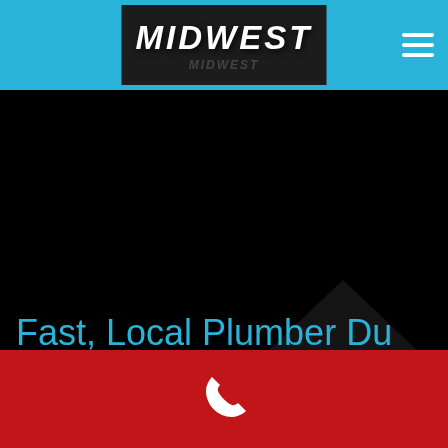MIDWEST
[Figure (logo): Midwest logo with dark background and white bold italic text]
Fast, Local Plumber Du Page IL
We offer residential and commercial plumbing services in Du Page Illinois, call a Du Page plumber
[Figure (other): White phone handset icon on red bar at bottom]